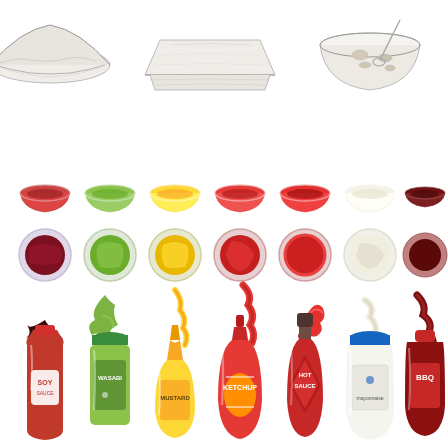[Figure (illustration): Food illustration showing: top row of sketched sandwiches/dumplings and a bowl in black and white line art; middle rows showing small bowls of various sauces (soy, wasabi, mustard, ketchup, hot sauce, mayonnaise, BBQ) in two styles - small bowls and round bowls; third row showing sauce drizzles/splashes; bottom row showing condiment bottles labeled SOY SAUCE, WASABI, MUSTARD, KETCHUP, HOT SAUCE, MAYONNAISE, BBQ]